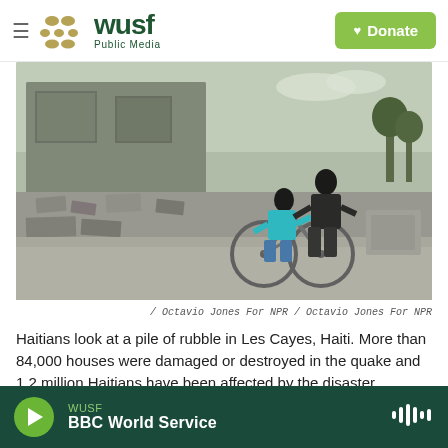WUSF Public Media — Donate
[Figure (photo): Two Haitians near a bicycle in front of a collapsed, rubble-strewn building in Les Cayes, Haiti after the 2021 earthquake.]
/ Octavio Jones For NPR / Octavio Jones For NPR
Haitians look at a pile of rubble in Les Cayes, Haiti. More than 84,000 houses were damaged or destroyed in the quake and 1.2 million Haitians have been affected by the disaster.
WUSF — BBC World Service